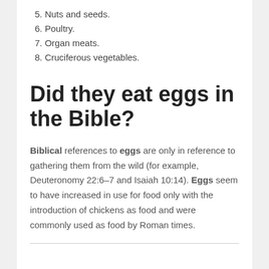5. Nuts and seeds.
6. Poultry.
7. Organ meats.
8. Cruciferous vegetables.
Did they eat eggs in the Bible?
Biblical references to eggs are only in reference to gathering them from the wild (for example, Deuteronomy 22:6–7 and Isaiah 10:14). Eggs seem to have increased in use for food only with the introduction of chickens as food and were commonly used as food by Roman times.